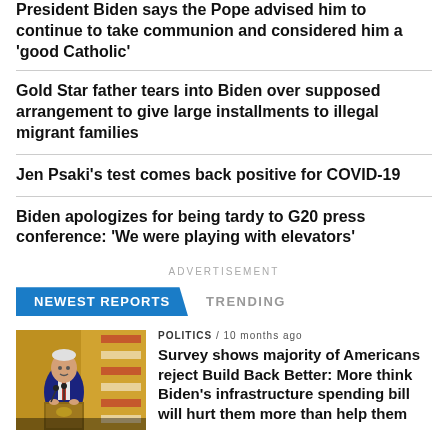President Biden says the Pope advised him to continue to take communion and considered him a ‘good Catholic’
Gold Star father tears into Biden over supposed arrangement to give large installments to illegal migrant families
Jen Psaki’s test comes back positive for COVID-19
Biden apologizes for being tardy to G20 press conference: ‘We were playing with elevators’
ADVERTISEMENT
NEWEST REPORTS   TRENDING
POLITICS / 10 months ago
[Figure (photo): Photo of President Biden speaking at a podium with American flag in background]
Survey shows majority of Americans reject Build Back Better: More think Biden’s infrastructure spending bill will hurt them more than help them